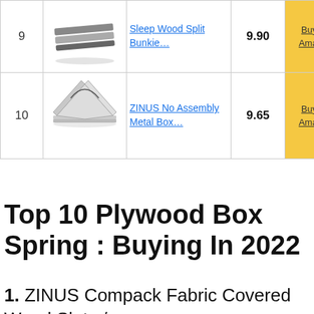| Rank | Image | Title | Score | Buy |
| --- | --- | --- | --- | --- |
| 9 | [image] | Sleep Wood Split Bunkie… | 9.90 | Buy on Amazon |
| 10 | [image] | ZINUS No Assembly Metal Box… | 9.65 | Buy on Amazon |
Top 10 Plywood Box Spring : Buying In 2022
1. ZINUS Compack Fabric Covered Wood Slats /